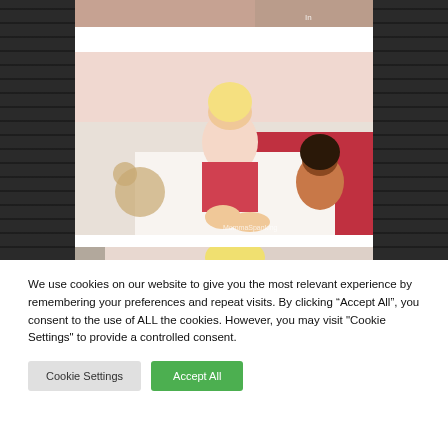[Figure (photo): Partial photo visible at top of page, cropped]
[Figure (photo): Photo of two women on a bed with watermark 'MommaSpanking' in bottom right corner]
[Figure (photo): Partial photo at bottom, cropped, showing blonde woman]
We use cookies on our website to give you the most relevant experience by remembering your preferences and repeat visits. By clicking “Accept All”, you consent to the use of ALL the cookies. However, you may visit "Cookie Settings" to provide a controlled consent.
Cookie Settings
Accept All